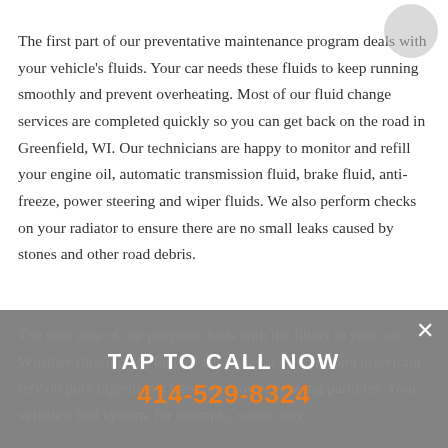The first part of our preventative maintenance program deals with your vehicle's fluids. Your car needs these fluids to keep running smoothly and prevent overheating. Most of our fluid change services are completed quickly so you can get back on the road in Greenfield, WI. Our technicians are happy to monitor and refill your engine oil, automatic transmission fluid, brake fluid, anti-freeze, power steering and wiper fluids. We also perform checks on your radiator to ensure there are no small leaks caused by stones and other road debris.
TAP TO CALL NOW
414-529-8324
The next area of our program deals with the filters in your car. Whether filtering oil, fuel, or air, your car's engine and drivetrain rely on pure ingredients free from power-robbing particles. Your vehicle's fuel system, for example, wants only